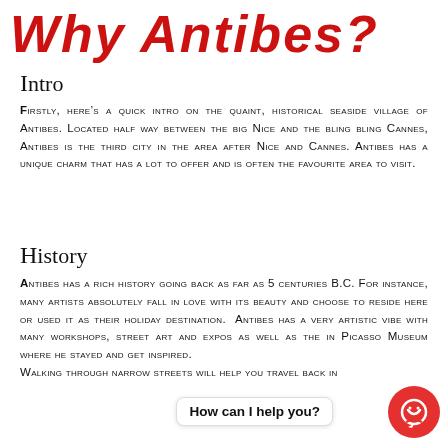Why Antibes?
Intro
Firstly, here’s a quick intro on the quaint, historical seaside village of Antibes. Located half way between the big Nice and the bling bling Cannes, Antibes is the third city in the area after Nice and Cannes. Antibes has a unique charm that has a lot to offer and is often the favourite area to visit.
History
Antibes has a rich history going back as far as 5 centuries B.C. For instance, many artists absolutely fall in love with its beauty and choose to reside here or used it as their holiday destination. Antibes has a very artistic vibe with many workshops, street art and expos as well as the in Picasso Museum where he stayed and get inspired. Walking through narrow streets will help you travel back in